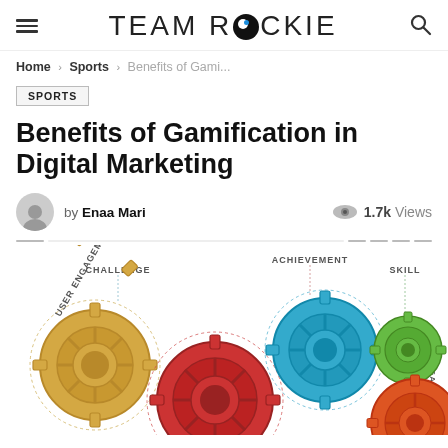TEAM ROCKIE
Home › Sports › Benefits of Gami...
SPORTS
Benefits of Gamification in Digital Marketing
by Enaa Mari  1.7k Views
[Figure (illustration): Colorful interlocking gears labeled with gamification concepts: Challenge, Achievement, Skill, User Engagement, Organization]